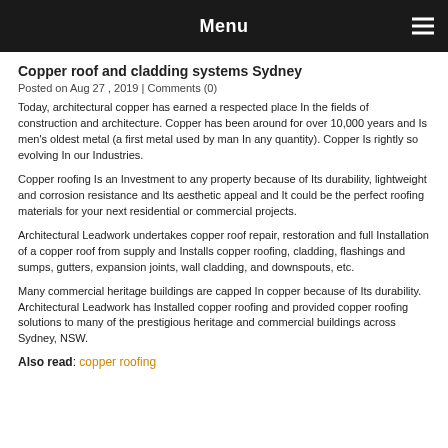Menu
Copper roof and cladding systems Sydney
Posted on Aug 27 , 2019 | Comments (0)
Today, architectural copper has earned a respected place In the fields of construction and architecture. Copper has been around for over 10,000 years and Is men's oldest metal (a first metal used by man In any quantity). Copper Is rightly so evolving In our Industries.
Copper roofing Is an Investment to any property because of Its durability, lightweight and corrosion resistance and Its aesthetic appeal and It could be the perfect roofing materials for your next residential or commercial projects.
Architectural Leadwork undertakes copper roof repair, restoration and full Installation of a copper roof from supply and Installs copper roofing, cladding, flashings and sumps, gutters, expansion joints, wall cladding, and downspouts, etc.
Many commercial heritage buildings are capped In copper because of Its durability. Architectural Leadwork has Installed copper roofing and provided copper roofing solutions to many of the prestigious heritage and commercial buildings across Sydney, NSW.
Also read: copper roofing